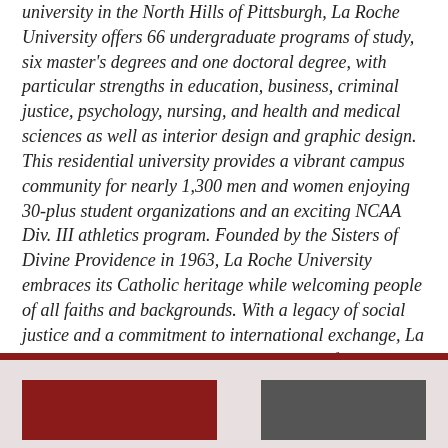university in the North Hills of Pittsburgh, La Roche University offers 66 undergraduate programs of study, six master's degrees and one doctoral degree, with particular strengths in education, business, criminal justice, psychology, nursing, and health and medical sciences as well as interior design and graphic design. This residential university provides a vibrant campus community for nearly 1,300 men and women enjoying 30-plus student organizations and an exciting NCAA Div. III athletics program. Founded by the Sisters of Divine Providence in 1963, La Roche University embraces its Catholic heritage while welcoming people of all faiths and backgrounds. With a legacy of social justice and a commitment to international exchange, La Roche University educates students to be lifelong learners and achievers in an increasingly diverse and global society.